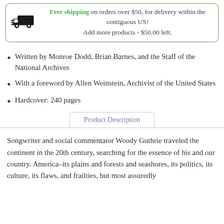Free shipping on orders over $50, for delivery within the contiguous US! Add more products - $50.00 left.
Written by Monroe Dodd, Brian Barnes, and the Staff of the National Archives
With a foreword by Allen Weinstein, Archivist of the United States
Hardcover: 240 pages
Product Description
Songwriter and social commentator Woody Guthrie traveled the continent in the 20th century, searching for the essence of his and our country. America–its plains and forests and seashores, its politics, its culture, its flaws, and frailties, but most assuredly